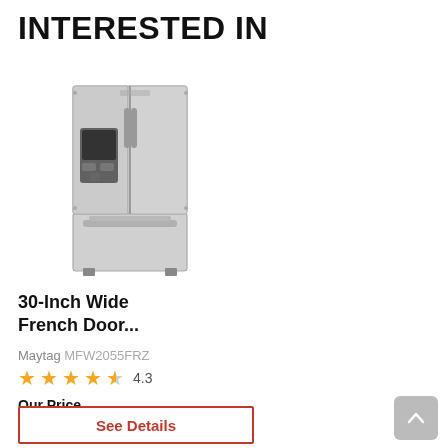INTERESTED IN
[Figure (photo): Stainless steel Maytag 30-inch wide French door refrigerator with water and ice dispenser on the left door, two upper French doors, and a bottom freezer drawer.]
30-Inch Wide French Door...
Maytag MFW2055FRZ
4.3
Our Price
$2,299.96
See Details